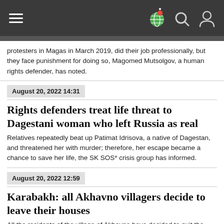Navigation bar with hamburger menu, globe icon, search icon, user icon
protesters in Magas in March 2019, did their job professionally, but they face punishment for doing so, Magomed Mutsolgov, a human rights defender, has noted.
August 20, 2022 14:31
Rights defenders treat life threat to Dagestani woman who left Russia as real
Relatives repeatedly beat up Patimat Idrisova, a native of Dagestan, and threatened her with murder; therefore, her escape became a chance to save her life, the SK SOS* crisis group has informed.
August 20, 2022 12:59
Karabakh: all Akhavno villagers decide to leave their houses
All the residents of the village of Akhavno have decided to quit the community; two of them burned down their houses, the head of the village has informed.